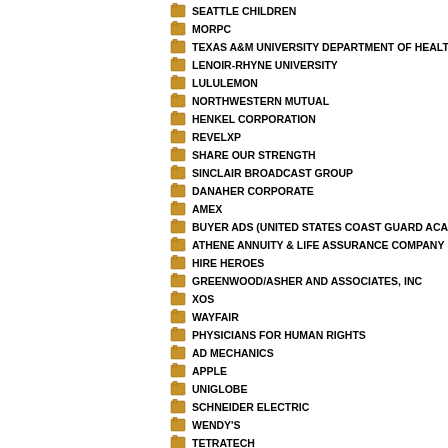SEATTLE CHILDREN
MORPC
TEXAS A&M UNIVERSITY DEPARTMENT OF HEALT
LENOIR-RHYNE UNIVERSITY
LULULEMON
NORTHWESTERN MUTUAL
HENKEL CORPORATION
REVELXP
SHARE OUR STRENGTH
SINCLAIR BROADCAST GROUP
DANAHER CORPORATE
AMEX
BUYER ADS (UNITED STATES COAST GUARD ACAD
ATHENE ANNUITY & LIFE ASSURANCE COMPANY
HIRE HEROES
GREENWOOD/ASHER AND ASSOCIATES, INC
XOS
WAYFAIR
PHYSICIANS FOR HUMAN RIGHTS
AD MECHANICS
APPLE
UNIGLOBE
SCHNEIDER ELECTRIC
WENDY'S
TETRATECH
FC CINCINNATI
UNITED STATES COAST GUARD ACADEMY
RWJBH